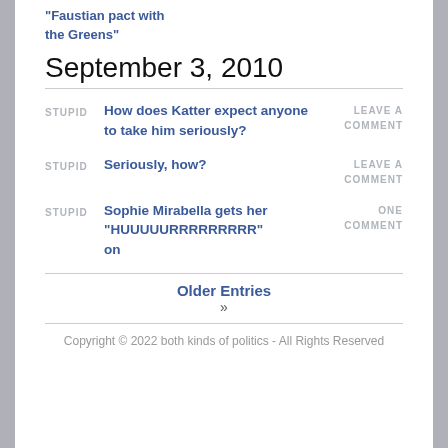“Faustian pact with the Greens”
September 3, 2010
STUPID | How does Katter expect anyone to take him seriously? | LEAVE A COMMENT
STUPID | Seriously, how? | LEAVE A COMMENT
STUPID | Sophie Mirabella gets her “HUUUUURRRRRRRRR” on | ONE COMMENT
Older Entries »
Copyright © 2022 both kinds of politics - All Rights Reserved